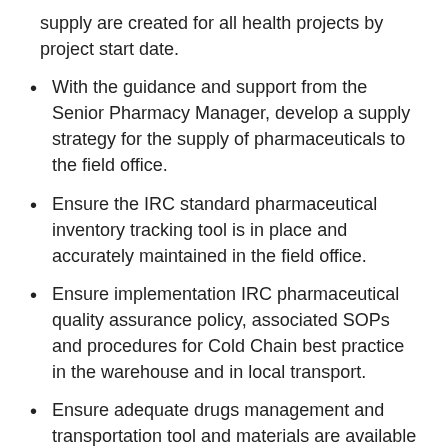supply are created for all health projects by project start date.
With the guidance and support from the Senior Pharmacy Manager, develop a supply strategy for the supply of pharmaceuticals to the field office.
Ensure the IRC standard pharmaceutical inventory tracking tool is in place and accurately maintained in the field office.
Ensure implementation IRC pharmaceutical quality assurance policy, associated SOPs and procedures for Cold Chain best practice in the warehouse and in local transport.
Ensure adequate drugs management and transportation tool and materials are available for the effective management of drugs.